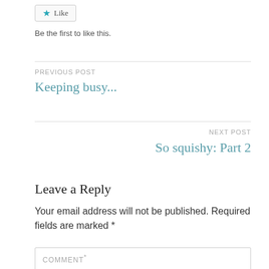[Figure (other): Like button with teal star icon and 'Like' label]
Be the first to like this.
PREVIOUS POST
Keeping busy...
NEXT POST
So squishy: Part 2
Leave a Reply
Your email address will not be published. Required fields are marked *
COMMENT*